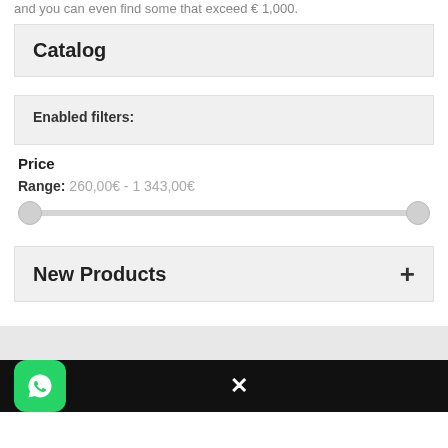and you can even find some that exceed € 1,000.
Catalog
Enabled filters:
Price
Range: 260,00€ - 1 343,00€
[Figure (other): Horizontal range slider with two circular thumb handles, showing price range selection]
New Products
[Figure (logo): WhatsApp logo icon on green rounded square background]
✕